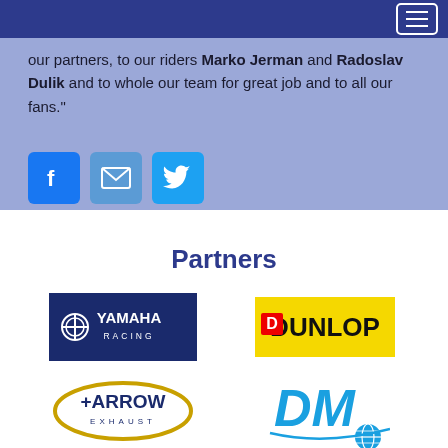Navigation bar with hamburger menu
our partners, to our riders Marko Jerman and Radoslav Dulik and to whole our team for great job and to all our fans."
[Figure (illustration): Social media icons: Facebook (blue), Email (light blue), Twitter (blue)]
Partners
[Figure (logo): Yamaha Racing logo - white text on dark navy background]
[Figure (logo): Dunlop logo - black text on yellow background]
[Figure (logo): Arrow Exhaust logo - gold oval with dark blue text]
[Figure (logo): DM logo - blue stylized DM letters with globe]
[Figure (logo): Partially visible logo at bottom]